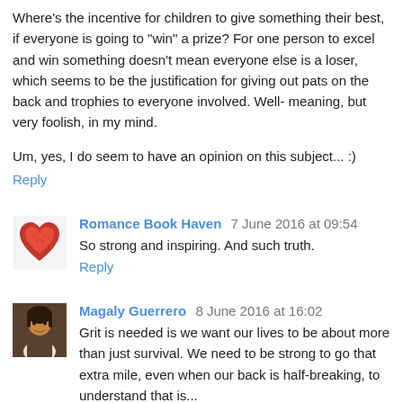Where's the incentive for children to give something their best, if everyone is going to "win" a prize? For one person to excel and win something doesn't mean everyone else is a loser, which seems to be the justification for giving out pats on the back and trophies to everyone involved. Well-meaning, but very foolish, in my mind.
Um, yes, I do seem to have an opinion on this subject... :)
Reply
Romance Book Haven 7 June 2016 at 09:54
So strong and inspiring. And such truth.
Reply
Magaly Guerrero 8 June 2016 at 16:02
Grit is needed is we want our lives to be about more than just survival. We need to be strong to go that extra mile, even when our back is half-breaking, to understand that is...